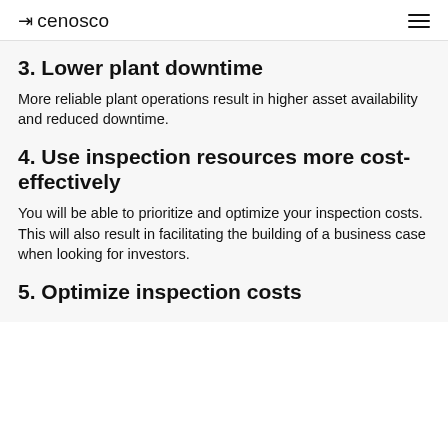cenosco
3. Lower plant downtime
More reliable plant operations result in higher asset availability and reduced downtime.
4. Use inspection resources more cost-effectively
You will be able to prioritize and optimize your inspection costs. This will also result in facilitating the building of a business case when looking for investors.
5. Optimize inspection costs